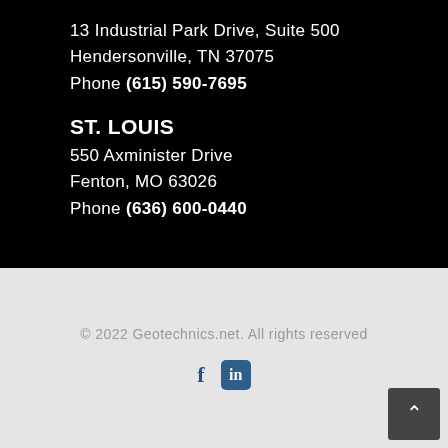13 Industrial Park Drive, Suite 500
Hendersonville, TN 37075
Phone (615) 590-7695
ST. LOUIS
550 Axminister Drive
Fenton, MO 63026
Phone (636) 600-0440
© 2022 Geotechnics.net. All rights reserved